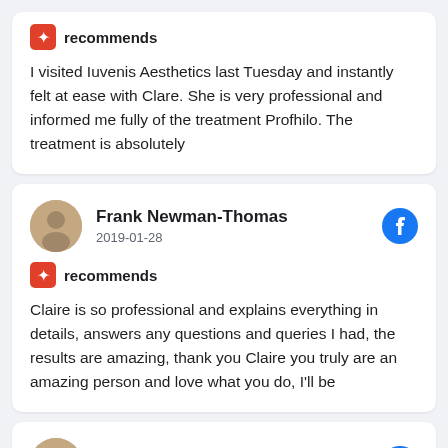recommends
I visited Iuvenis Aesthetics last Tuesday and instantly felt at ease with Clare. She is very professional and informed me fully of the treatment Profhilo. The treatment is absolutely
Frank Newman-Thomas
2019-01-28
recommends
Claire is so professional and explains everything in details, answers any questions and queries I had, the results are amazing, thank you Claire you truly are an amazing person and love what you do, I'll be
Elizabeth Patterson
2018-11-08
recommends
Clare truly is a professional. Her consultation